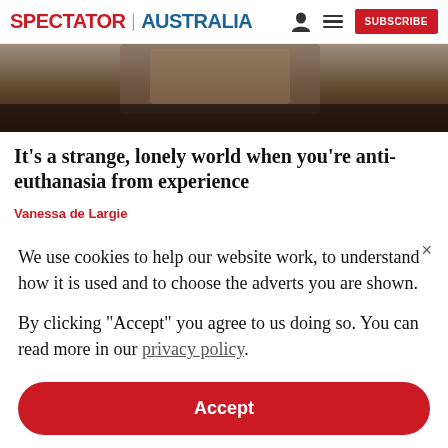SPECTATOR | AUSTRALIA
[Figure (photo): Close-up photo of hands, dark tones, partially visible at top of article]
It's a strange, lonely world when you're anti-euthanasia from experience
Vanessa de Largie
We use cookies to help our website work, to understand how it is used and to choose the adverts you are shown.
By clicking "Accept" you agree to us doing so. You can read more in our privacy policy.